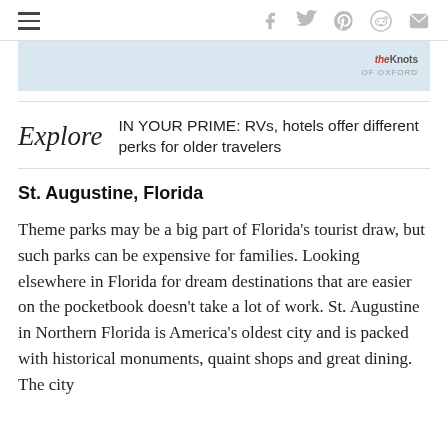≡  f  ʬ  p  reddit  ✉
[Figure (screenshot): Advertisement banner with light blue background and 'theKnots OF OXFORD' logo in the upper right]
IN YOUR PRIME: RVs, hotels offer different perks for older travelers
St. Augustine, Florida
Theme parks may be a big part of Florida's tourist draw, but such parks can be expensive for families. Looking elsewhere in Florida for dream destinations that are easier on the pocketbook doesn't take a lot of work. St. Augustine in Northern Florida is America's oldest city and is packed with historical monuments, quaint shops and great dining. The city